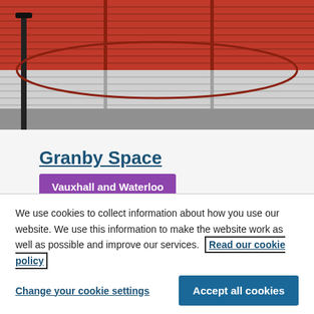[Figure (photo): Photograph of red roller shutter doors/garage units with a black lamppost on the left, viewed from street level.]
Granby Space
Vauxhall and Waterloo
A temporary affordable workspace project
We use cookies to collect information about how you use our website. We use this information to make the website work as well as possible and improve our services.  Read our cookie policy
Change your cookie settings
Accept all cookies